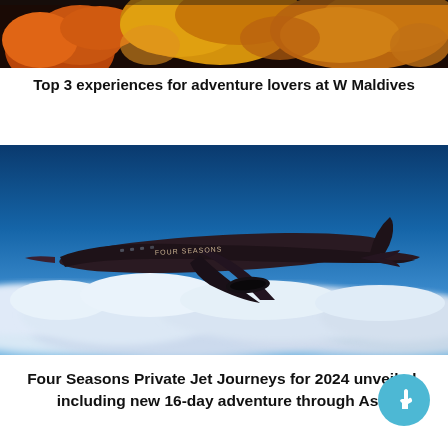[Figure (photo): Close-up photo of colorful coral reef with orange and yellow coral formations against a dark background, cropped at the top.]
Top 3 experiences for adventure lovers at W Maldives
[Figure (photo): Photo of a dark-colored Four Seasons branded private jet flying above clouds in a blue sky.]
Four Seasons Private Jet Journeys for 2024 unveiled, including new 16-day adventure through Asia